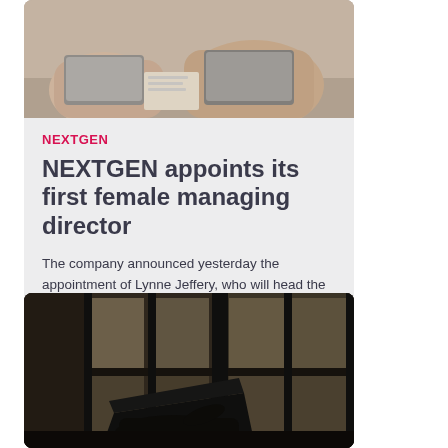[Figure (photo): Two people at a desk with laptops and documents]
NEXTGEN
NEXTGEN appoints its first female managing director
The company announced yesterday the appointment of Lynne Jeffery, who will head the company's New Zealand operaiton.
[Figure (photo): Silhouette of person using a laptop near a window]